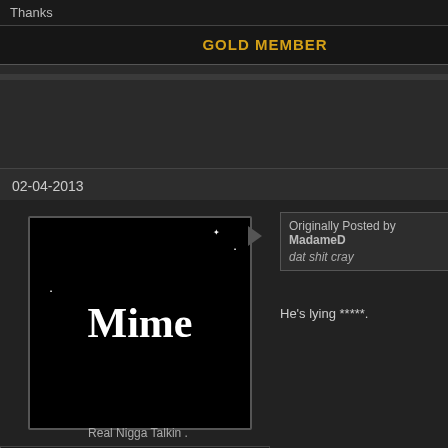| Thanks | 215 |
| --- | --- |
GOLD MEMBER
dat shit cray
02-04-2013
[Figure (illustration): Black square avatar image with white serif text reading 'Mime']
Real Nigga Talkin .
Originally Posted by MadameD
dat shit cray
He's lying *****.
Mime
| Join Date | Jun 2012 |
| Country | 🇱🇧 |
| Posts | 3,152 |